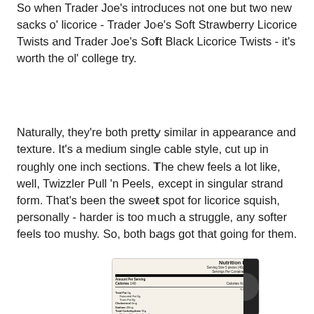So when Trader Joe's introduces not one but two new sacks o' licorice - Trader Joe's Soft Strawberry Licorice Twists and Trader Joe's Soft Black Licorice Twists - it's worth the ol' college try.
Naturally, they're both pretty similar in appearance and texture. It's a medium single cable style, cut up in roughly one inch sections. The chew feels a lot like, well, Twizzler Pull 'n Peels, except in singular strand form. That's been the sweet spot for licorice squish, personally - harder is too much a struggle, any softer feels too mushy. So, both bags got that going for them.
[Figure (photo): A photo of a Nutrition Facts label from a package of Trader Joe's licorice, showing serving size, calories, total fat, saturated fat, trans fat, cholesterol, sodium, total carbohydrates, dietary fiber, sugars, protein, and vitamin percentages. The right side of the image is partially obscured by a dark edge.]